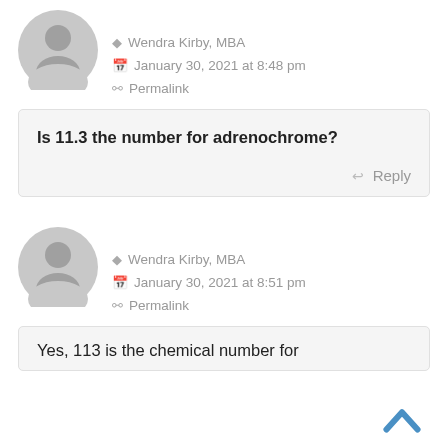[Figure (illustration): Gray default user avatar icon (circle with person silhouette), first comment]
Wendra Kirby, MBA
January 30, 2021 at 8:48 pm
Permalink
Is 11.3 the number for adrenochrome?
Reply
[Figure (illustration): Gray default user avatar icon (circle with person silhouette), second comment]
Wendra Kirby, MBA
January 30, 2021 at 8:51 pm
Permalink
Yes, 113 is the chemical number for